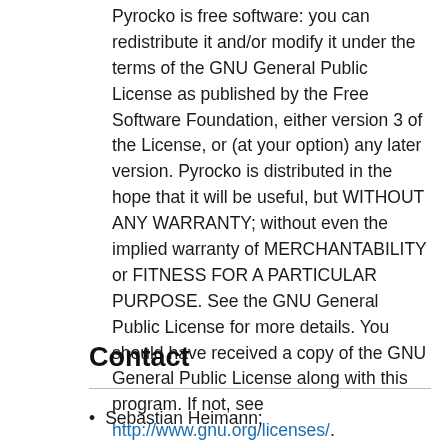Pyrocko is free software: you can redistribute it and/or modify it under the terms of the GNU General Public License as published by the Free Software Foundation, either version 3 of the License, or (at your option) any later version. Pyrocko is distributed in the hope that it will be useful, but WITHOUT ANY WARRANTY; without even the implied warranty of MERCHANTABILITY or FITNESS FOR A PARTICULAR PURPOSE. See the GNU General Public License for more details. You should have received a copy of the GNU General Public License along with this program. If not, see http://www.gnu.org/licenses/.
Contact
Sebastian Heimann;